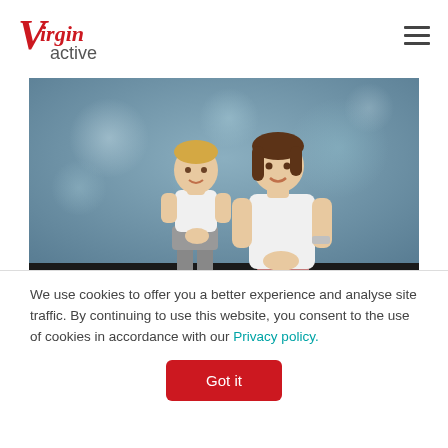Virgin Active
[Figure (photo): A young boy in a white t-shirt and grey shorts standing next to a woman in a white t-shirt and pink leggings who is kneeling, both smiling, against a blurred bokeh blue/green background.]
We use cookies to offer you a better experience and analyse site traffic. By continuing to use this website, you consent to the use of cookies in accordance with our Privacy policy.
Got it